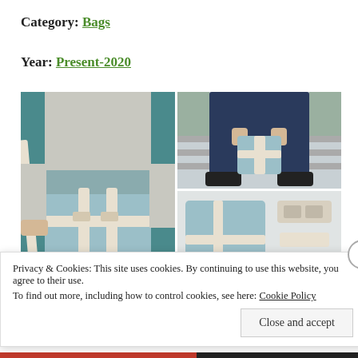Category: Bags
Year: Present-2020
[Figure (photo): Three product photos of a light blue and gray messenger bag with white straps and buckles. Left: woman wearing the bag. Top right: person sitting on railing holding the bag. Bottom right: flat lay of bag components.]
Privacy & Cookies: This site uses cookies. By continuing to use this website, you agree to their use.
To find out more, including how to control cookies, see here: Cookie Policy
Close and accept